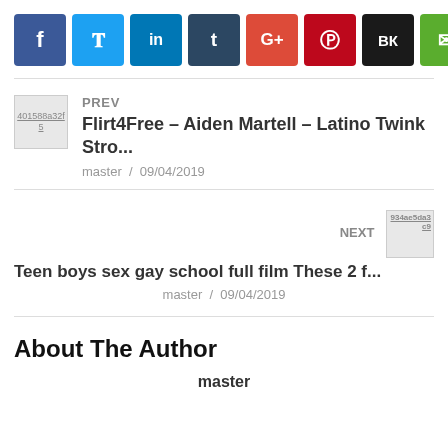[Figure (other): Social share buttons row: Facebook (blue), Twitter (light blue), LinkedIn (blue), Tumblr (dark navy), Google+ (red), Pinterest (dark red), VK (black), Email (green)]
PREV
Flirt4Free – Aiden Martell – Latino Twink Stro...
master / 09/04/2019
NEXT
Teen boys sex gay school full film These 2 f...
master / 09/04/2019
About The Author
master